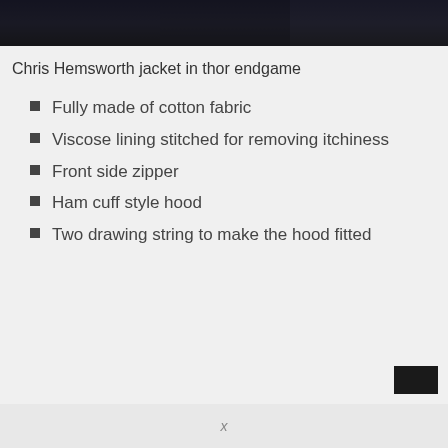[Figure (photo): Dark image of a person wearing a jacket, appearing to be a movie still from Thor Endgame]
Chris Hemsworth jacket in thor endgame
Fully made of cotton fabric
Viscose lining stitched for removing itchiness
Front side zipper
Ham cuff style hood
Two drawing string to make the hood fitted